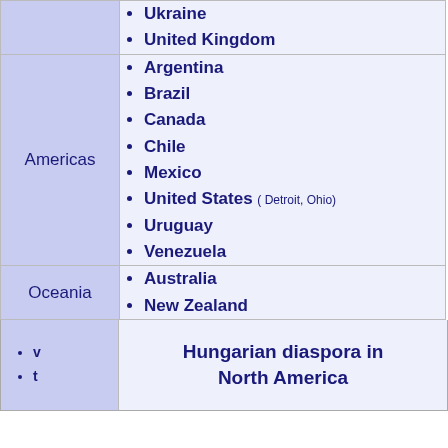Ukraine
United Kingdom
Americas
Argentina
Brazil
Canada
Chile
Mexico
United States ( Detroit, Ohio)
Uruguay
Venezuela
Oceania
Australia
New Zealand
Hungarian diaspora in North America
v
t